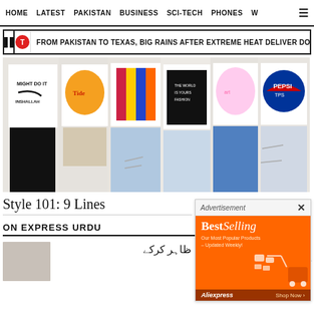HOME  LATEST  PAKISTAN  BUSINESS  SCI-TECH  PHONES  W
FROM PAKISTAN TO TEXAS, BIG RAINS AFTER EXTREME HEAT DELIVER DOUBLE
[Figure (photo): Group of people in graphic t-shirts and casual bottoms (jeans, shorts) posing together on a white background]
Style 101: 9 Lines
[Figure (infographic): Advertisement banner - BestSelling: Our Most Popular Products – Updated Weekly! AliExpress Shop Now]
ON EXPRESS URDU
خود کو سپریم کورٹ کا جج ظاہر کرکے کلاہانگ کے ساتھ الابال